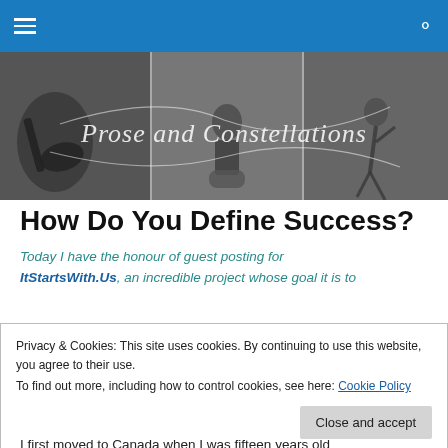Navigation bar with hamburger menu and search icon
[Figure (illustration): Black and white banner image with cursive text 'Prose and Constellations', showing musicians and dancers]
How Do You Define Success?
Today I have the honour of guest posting for ItStartsWith.Us, an incredible project whose goal it is to
Privacy & Cookies: This site uses cookies. By continuing to use this website, you agree to their use. To find out more, including how to control cookies, see here: Cookie Policy
I first moved to Canada when I was fifteen years old